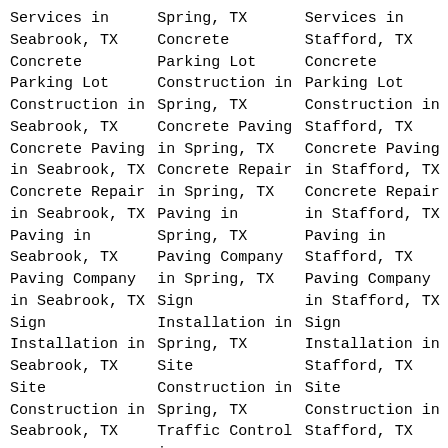Services in Seabrook, TX
Concrete Parking Lot Construction in Seabrook, TX
Concrete Paving in Seabrook, TX
Concrete Repair in Seabrook, TX
Paving in Seabrook, TX
Paving Company in Seabrook, TX
Sign Installation in Seabrook, TX
Site Construction in Seabrook, TX
Spring, TX
Concrete Parking Lot Construction in Spring, TX
Concrete Paving in Spring, TX
Concrete Repair in Spring, TX
Paving in Spring, TX
Paving Company in Spring, TX
Sign Installation in Spring, TX
Site Construction in Spring, TX
Traffic Control in
Services in Stafford, TX
Concrete Parking Lot Construction in Stafford, TX
Concrete Paving in Stafford, TX
Concrete Repair in Stafford, TX
Paving in Stafford, TX
Paving Company in Stafford, TX
Sign Installation in Stafford, TX
Site Construction in Stafford, TX